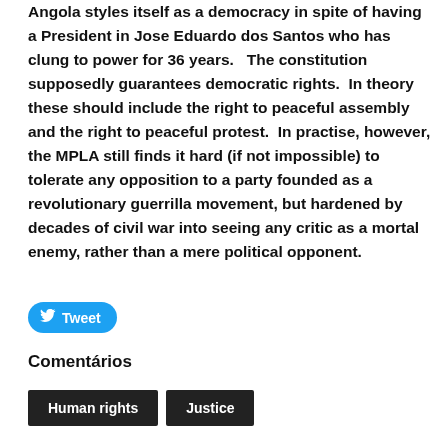Angola styles itself as a democracy in spite of having a President in Jose Eduardo dos Santos who has clung to power for 36 years.   The constitution supposedly guarantees democratic rights.  In theory these should include the right to peaceful assembly and the right to peaceful protest.  In practise, however, the MPLA still finds it hard (if not impossible) to tolerate any opposition to a party founded as a revolutionary guerrilla movement, but hardened by decades of civil war into seeing any critic as a mortal enemy, rather than a mere political opponent.
Tweet
Comentários
Human rights
Justice